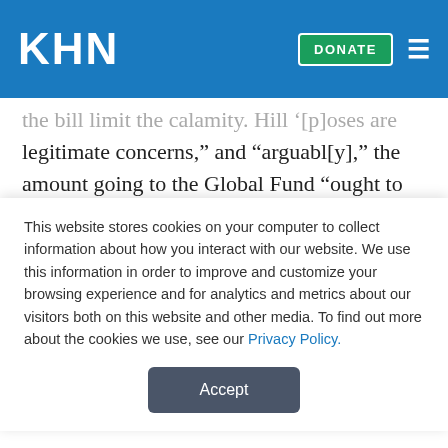KHN | DONATE
the bill limit the calamity. Hill '[p]oses are legitimate concerns,' and 'arguabl[y],' the amount going to the Global Fund 'ought to be greater.' The Bee concludes, '[T]he president's commitment is a welcome contribution to a struggle that's still in its infancy, even as the epidemic ravages whole countries' (Sacramento Bee, 2/1).
Wall Street Journal: Although many 'professed
This website stores cookies on your computer to collect information about how you interact with our website. We use this information in order to improve and customize your browsing experience and for analytics and metrics about our visitors both on this website and other media. To find out more about the cookies we use, see our Privacy Policy.
Accept